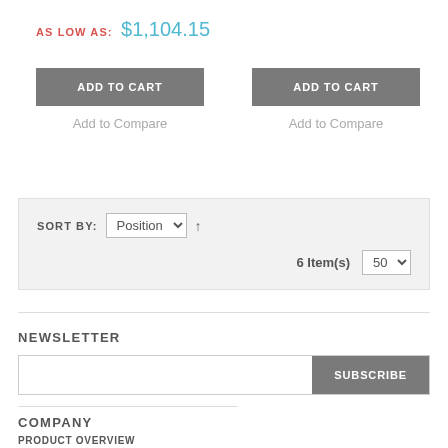AS LOW AS: $1,104.15
ADD TO CART
Add to Compare
ADD TO CART
Add to Compare
SORT BY: Position ↑
6 Item(s)   50
NEWSLETTER
SUBSCRIBE
COMPANY
PRODUCT OVERVIEW
SERVICES OVERVIEW